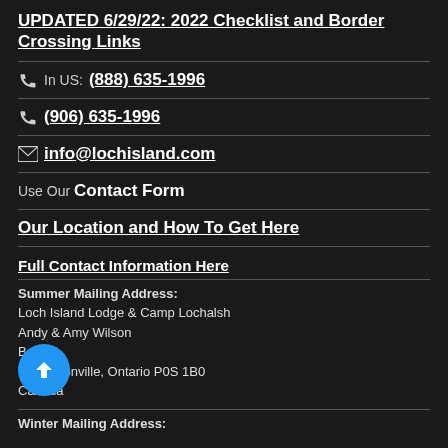UPDATED 6/29/22: 2022 Checklist and Border Crossing Links
In US: (888) 635-1996
(906) 635-1996
info@lochisland.com
Use Our Contact Form
Our Location and How To Get Here
Full Contact Information Here
Summer Mailing Address: Loch Island Lodge & Camp Lochalsh Andy & Amy Wilson Box 40 Thessalon, Ontario P0S 1B0 Canada
Winter Mailing Address: